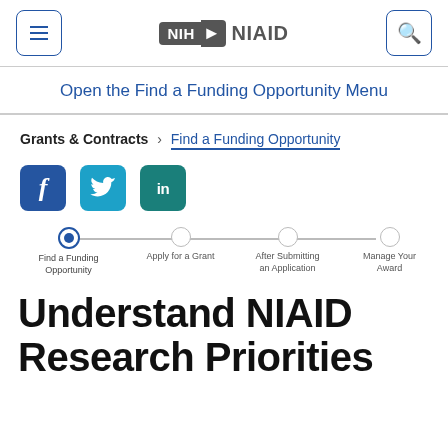NIH NIAID — Navigation header with menu, logo, and search
Open the Find a Funding Opportunity Menu
Grants & Contracts > Find a Funding Opportunity
[Figure (infographic): Social media share buttons: Facebook, Twitter, LinkedIn]
[Figure (infographic): Step progress nav: Find a Funding Opportunity (active), Apply for a Grant, After Submitting an Application, Manage Your Award]
Understand NIAID Research Priorities